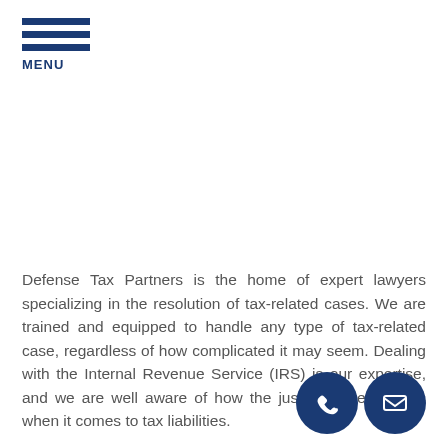MENU
Defense Tax Partners is the home of expert lawyers specializing in the resolution of tax-related cases. We are trained and equipped to handle any type of tax-related case, regardless of how complicated it may seem. Dealing with the Internal Revenue Service (IRS) is our expertise, and we are well aware of how the justice system works when it comes to tax liabilities.
Whether you failed to file your tax return, are accused of tax evasion, are overwhelmed with tax debts, or simply